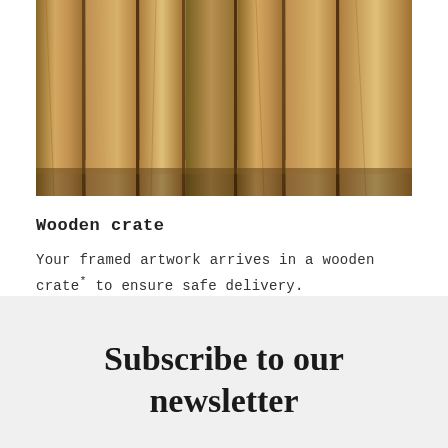[Figure (photo): Wooden crates or canvas stretcher bars standing vertically in a row, showing raw wood grain and construction details.]
Wooden crate
Your framed artwork arrives in a wooden crate* to ensure safe delivery.
*The actual crate may vary, as it is custom made per order.
Subscribe to our newsletter